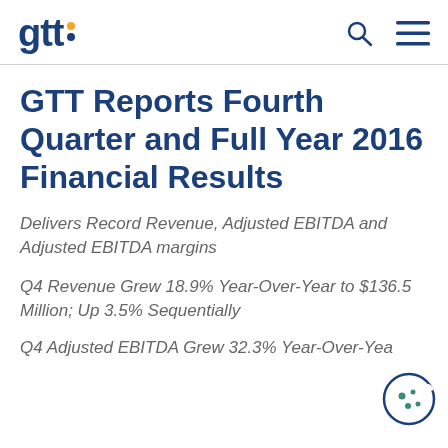GTT [logo]
GTT Reports Fourth Quarter and Full Year 2016 Financial Results
Delivers Record Revenue, Adjusted EBITDA and Adjusted EBITDA margins
Q4 Revenue Grew 18.9% Year-Over-Year to $136.5 Million; Up 3.5% Sequentially
Q4 Adjusted EBITDA Grew 32.3% Year-Over-Year